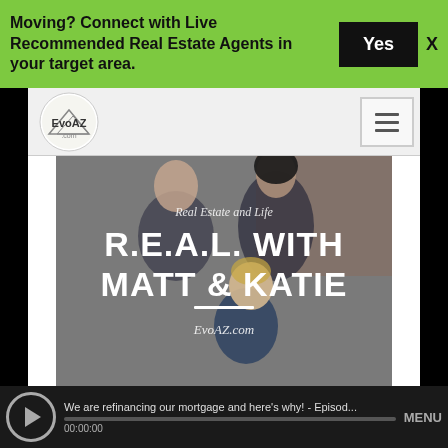Moving? Connect with Live Recommended Real Estate Agents in your target area.
Yes
[Figure (screenshot): EvoAZ.com website screenshot showing nav bar with logo and hamburger menu, family photo background with podcast branding 'R.E.A.L. WITH MATT & KATIE' and 'EvoAZ.com', and audio player bar at bottom.]
We are refinancing our mortgage and here's why! - Episod...
00:00:00
MENU